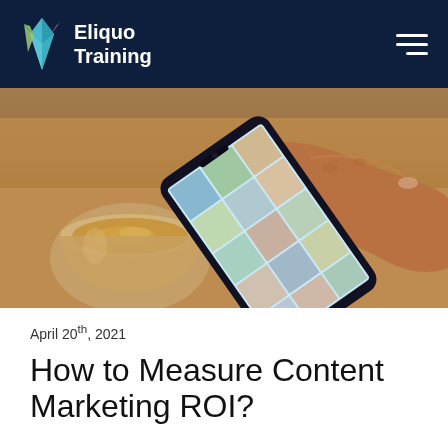Eliquo Training
[Figure (photo): A hand holding a smartphone displaying a photo grid (food photos), with a coffee cup blurred in the background on a wooden surface.]
April 20th, 2021
How to Measure Content Marketing ROI?